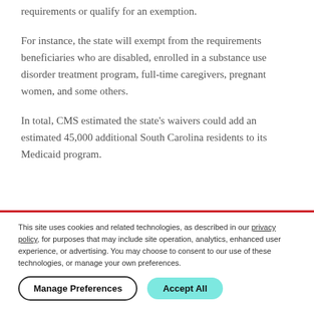requirements or qualify for an exemption.
For instance, the state will exempt from the requirements beneficiaries who are disabled, enrolled in a substance use disorder treatment program, full-time caregivers, pregnant women, and some others.
In total, CMS estimated the state's waivers could add an estimated 45,000 additional South Carolina residents to its Medicaid program.
This site uses cookies and related technologies, as described in our privacy policy, for purposes that may include site operation, analytics, enhanced user experience, or advertising. You may choose to consent to our use of these technologies, or manage your own preferences.